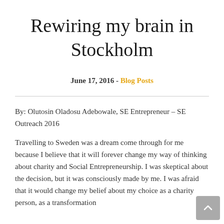Rewiring my brain in Stockholm
June 17, 2016 - Blog Posts
By: Olutosin Oladosu Adebowale, SE Entrepreneur – SE Outreach 2016
Travelling to Sweden was a dream come through for me because I believe that it will forever change my way of thinking about charity and Social Entrepreneurship. I was skeptical about the decision, but it was consciously made by me. I was afraid that it would change my belief about my choice as a charity person, as a transformation